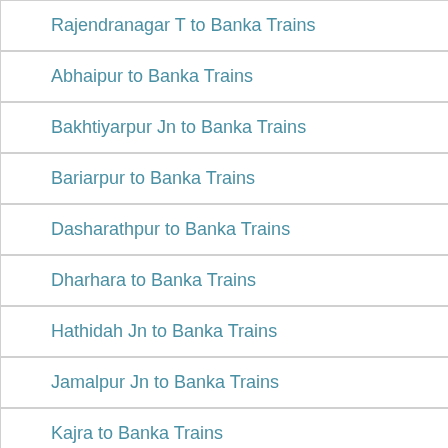Rajendranagar T to Banka Trains
Abhaipur to Banka Trains
Bakhtiyarpur Jn to Banka Trains
Bariarpur to Banka Trains
Dasharathpur to Banka Trains
Dharhara to Banka Trains
Hathidah Jn to Banka Trains
Jamalpur Jn to Banka Trains
Kajra to Banka Trains
Kiul Jn to Banka Trains